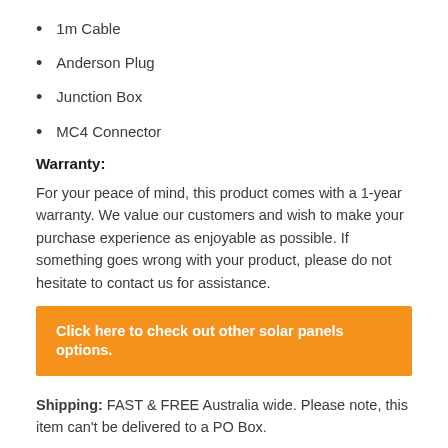1m Cable
Anderson Plug
Junction Box
MC4 Connector
Warranty:
For your peace of mind, this product comes with a 1-year warranty. We value our customers and wish to make your purchase experience as enjoyable as possible. If something goes wrong with your product, please do not hesitate to contact us for assistance.
Click here to check out other solar panels options.
Shipping: FAST & FREE Australia wide. Please note, this item can't be delivered to a PO Box.
Delivery: Under normal conditions, delivery will take between 2